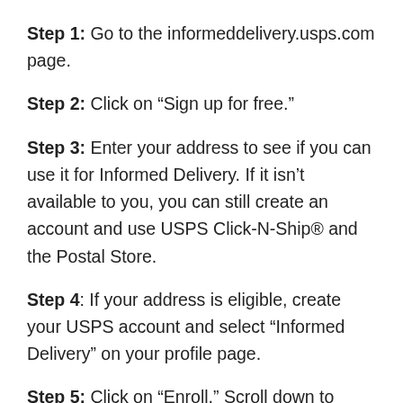Step 1: Go to the informeddelivery.usps.com page.
Step 2: Click on “Sign up for free.”
Step 3: Enter your address to see if you can use it for Informed Delivery. If it isn’t available to you, you can still create an account and use USPS Click-N-Ship® and the Postal Store.
Step 4: If your address is eligible, create your USPS account and select “Informed Delivery” on your profile page.
Step 5: Click on “Enroll,” Scroll down to “Account Management,” and select the “Informed Delivery”